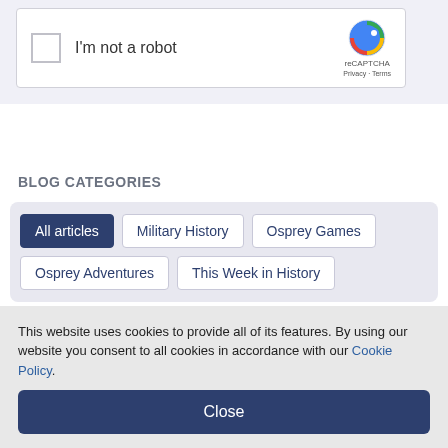[Figure (screenshot): reCAPTCHA widget with checkbox labeled 'I'm not a robot' and reCAPTCHA logo with Privacy and Terms links]
BLOG CATEGORIES
All articles
Military History
Osprey Games
Osprey Adventures
This Week in History
SEARCH POSTS
Search phrase
This website uses cookies to provide all of its features. By using our website you consent to all cookies in accordance with our Cookie Policy.
Close